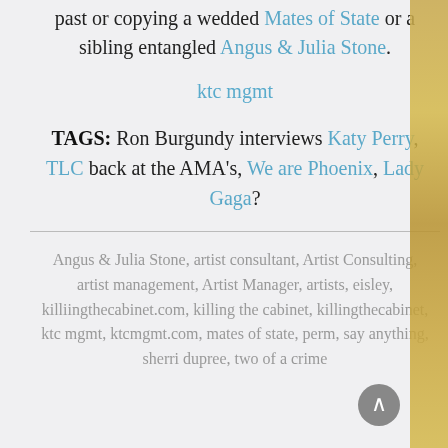past or copying a wedded Mates of State or a sibling entangled Angus & Julia Stone.
ktc mgmt
TAGS: Ron Burgundy interviews Katy Perry, TLC back at the AMA's, We are Phoenix, Lady Gaga?
Angus & Julia Stone, artist consultant, Artist Consulting, artist management, Artist Manager, artists, eisley, killiingthecabinet.com, killing the cabinet, killingthecabinet, ktc mgmt, ktcmgmt.com, mates of state, perm, say anything, sherri dupree, two of a crime